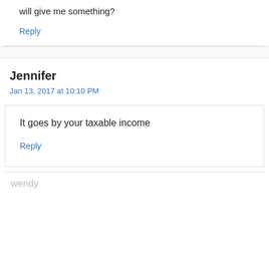will give me something?
Reply
Jennifer
Jan 13, 2017 at 10:10 PM
It goes by your taxable income
Reply
wendy